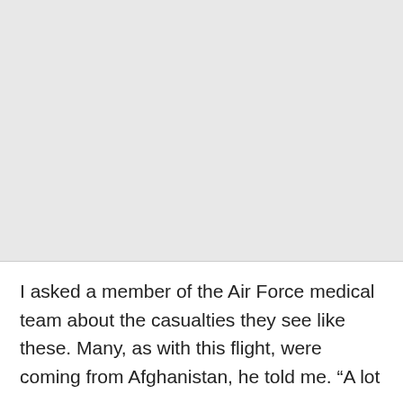[Figure (photo): Large light gray image placeholder occupying the upper portion of the page]
I asked a member of the Air Force medical team about the casualties they see like these. Many, as with this flight, were coming from Afghanistan, he told me. “A lot